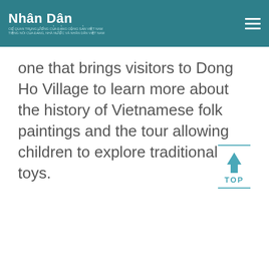Nhân Dân — Cơ quan trung ương của Đảng Cộng sản Việt Nam — Tiếng nói của Đảng, Nhà nước và nhân dân Việt Nam
one that brings visitors to Dong Ho Village to learn more about the history of Vietnamese folk paintings and the tour allowing children to explore traditional toys.